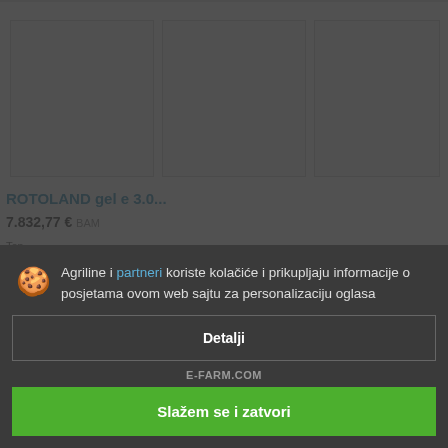[Figure (photo): Three image thumbnails of agricultural equipment (empty/placeholder boxes)]
ROTOLAND gel e 3.0...
7.832,77 € BAM
Ton...
Godin...
Agriline i partneri koriste kolačiće i prikupljaju informacije o posjetama ovom web sajtu za personalizaciju oglasa
Detalji
E-FARM.COM
Slažem se i zatvori